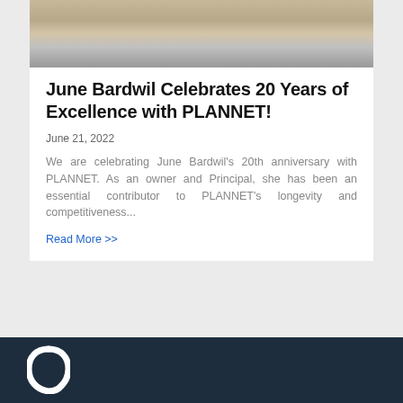[Figure (photo): Partial photo of a person with arms crossed, visible from chest down, wearing a dark shirt, outdoors background]
June Bardwil Celebrates 20 Years of Excellence with PLANNET!
June 21, 2022
We are celebrating June Bardwil's 20th anniversary with PLANNET. As an owner and Principal, she has been an essential contributor to PLANNET's longevity and competitiveness...
Read More >>
[Figure (logo): White PLANNET logo on dark navy background, partially visible at bottom of page]